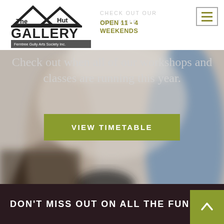[Figure (logo): The Hut Gallery logo with house/roof icon and Ferntree Gully Arts Society Inc badge]
[Figure (screenshot): Hamburger navigation menu icon in top right corner]
CHECK OUT OUR TIMETABLE
OPEN 11 - 4 WEEKENDS
Check out when all of our workshops and classes are running this year.
VIEW TIMETABLE
[Figure (photo): Blurred background photo of people in an art gallery/workshop setting]
DON'T MISS OUT ON ALL THE FUN!